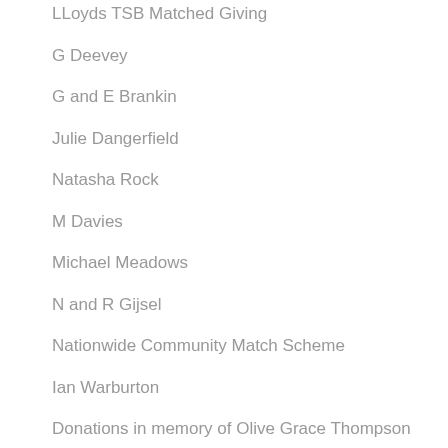LLoyds TSB Matched Giving
G Deevey
G and E Brankin
Julie Dangerfield
Natasha Rock
M Davies
Michael Meadows
N and R Gijsel
Nationwide Community Match Scheme
Ian Warburton
Donations in memory of Olive Grace Thompson
Team Lincoln